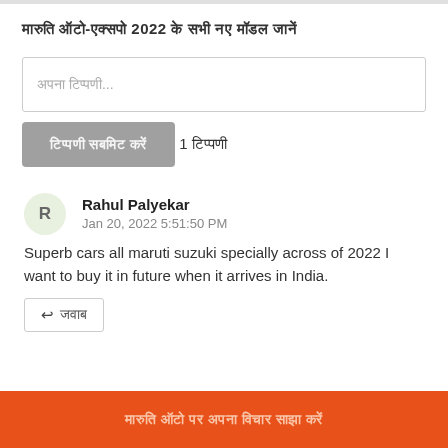मारुति ऑटो-एक्सपो 2022 के सभी नए मॉडल जानें
अपना टिप्पणी...
टिप्पणी सबमिट करें
1 टिप्पणी
Rahul Palyekar
Jan 20, 2022 5:51:50 PM
Superb cars all maruti suzuki specially across of 2022 I want to buy it in future when it arrives in India.
जवाब
मारुति ऑटो पर अपना विचार साझा करें